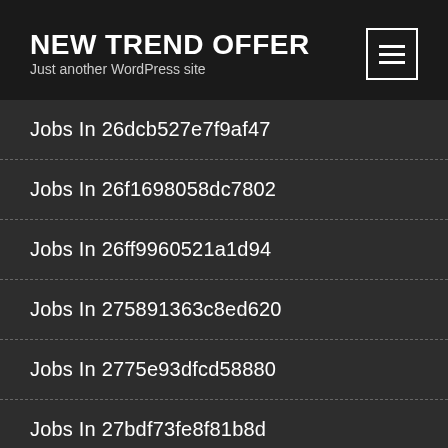NEW TREND OFFER
Just another WordPress site
Jobs In 26dcb527e7f9af47
Jobs In 26f1698058dc7802
Jobs In 26ff9960521a1d94
Jobs In 275891363c8ed620
Jobs In 2775e93dfcd58880
Jobs In 27bdf73fe8f81b8d